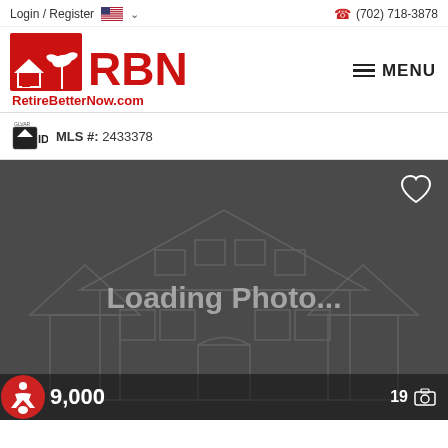Login / Register  (702) 718-3878
[Figure (logo): RBN RetireBetterNow.com logo in red with house and palm tree icon, and MENU hamburger button]
MLS #: 2433378
[Figure (photo): Loading Photo... placeholder image showing a dark grey background with a faint house outline watermark. Shows a heart/favorite icon top right, an accessibility icon bottom left, price ending in 9,000, and a photo count of 19.]